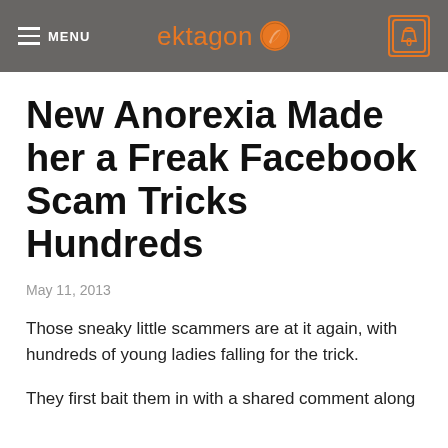MENU | ektagon | 0
New Anorexia Made her a Freak Facebook Scam Tricks Hundreds
May 11, 2013
Those sneaky little scammers are at it again, with hundreds of young ladies falling for the trick.
They first bait them in with a shared comment along